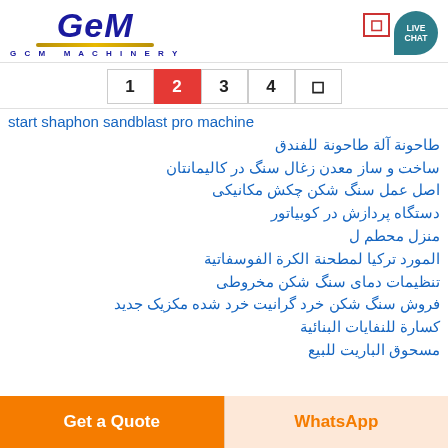[Figure (logo): GCM Machinery logo with blue stylized text and gold underline]
Page navigation: 1 2 3 4 [menu]
start shaphon sandblast pro machine
طاحونة آلة طاحونة للفندق
ساخت و ساز معدن زغال سنگ در کالیمانتان
اصل عمل سنگ شکن چکش مکانیکی
دستگاه پردازش در کوبیاتور
منزل محطم ل
المورد تركيا لمطحنة الكرة الفوسفاتية
تنظیمات دمای سنگ شکن مخروطی
فروش سنگ شکن خرد گرانیت خرد شده مکزیک جدید
كسارة للنفايات البنائية
مسحوق الباريت للبيع
Get a Quote | WhatsApp